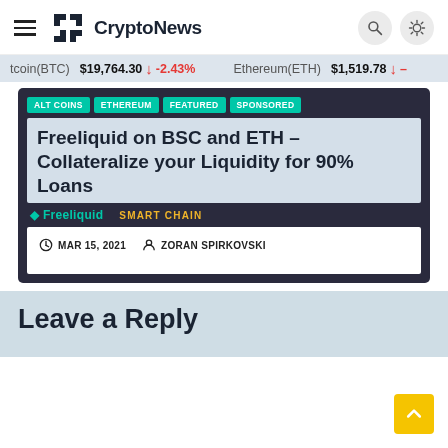CryptoNews
Bitcoin(BTC) $19,764.30 ↓ -2.43%  Ethereum(ETH) $1,519.78 ↓ -
ALT COINS  ETHEREUM  FEATURED  SPONSORED
Freeliquid on BSC and ETH – Collateralize your Liquidity for 90% Loans
MAR 15, 2021   ZORAN SPIRKOVSKI
Leave a Reply